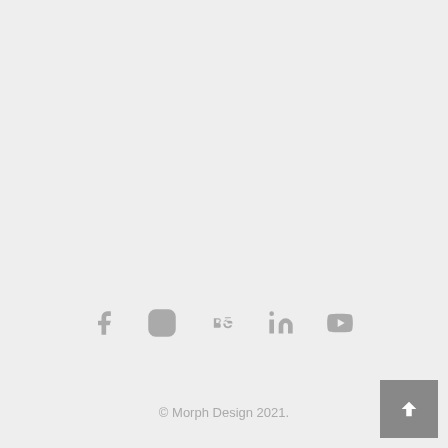[Figure (infographic): Social media icons: Facebook, Instagram, Behance, LinkedIn, YouTube — rendered in grey]
© Morph Design 2021.